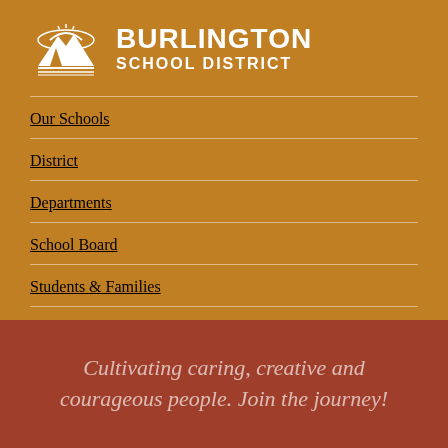[Figure (logo): Burlington School District logo: white mountain/tree landscape icon with BURLINGTON SCHOOL DISTRICT text in white on golden-brown background]
Our Schools
District
Departments
School Board
Students & Families
Cultivating caring, creative and courageous people. Join the journey!